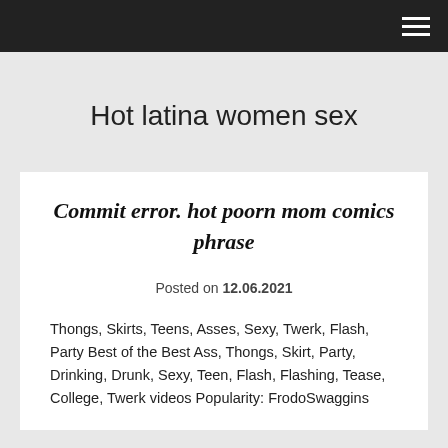☰
Hot latina women sex
Commit error. hot poorn mom comics phrase
Posted on 12.06.2021
Thongs, Skirts, Teens, Asses, Sexy, Twerk, Flash, Party Best of the Best Ass, Thongs, Skirt, Party, Drinking, Drunk, Sexy, Teen, Flash, Flashing, Tease, College, Twerk videos Popularity: FrodoSwaggins